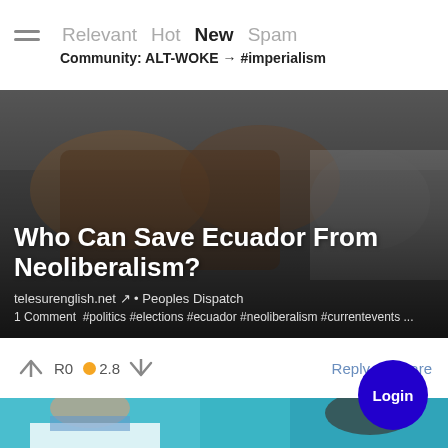Relevant  Hot  New  Spam
Community: ALT-WOKE → #imperialism
[Figure (photo): Close-up photo of people clasping hands/fists together in solidarity, dark-toned background with protest imagery]
Who Can Save Ecuador From Neoliberalism?
telesurenglish.net ↗ • Peoples Dispatch
1 Comment  #politics #elections #ecuador #neoliberalism #currentevents ...
↑  R0  🟠2.8  ↓                                               Reply   Share
[Figure (photo): Photo of a man in a white t-shirt with a blue face mask pulled down, leaning over something; second person partially visible on the right side.]
Login